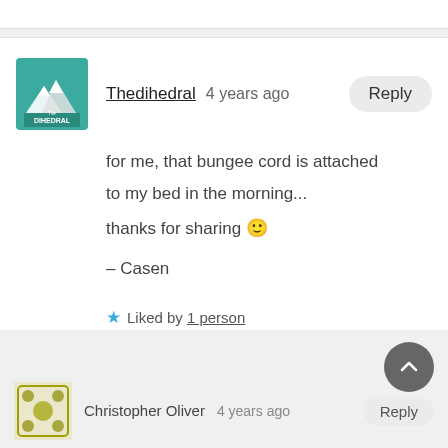[Figure (screenshot): Comment section from a blog or article. Top comment by Thedihedral, posted 4 years ago, with a teal mountain/dihedral logo avatar. Comment text: 'for me, that bungee cord is attached to my bed in the morning... thanks for sharing 🙂 – Casen'. Liked by 1 person. Below is a partial second comment by Christopher Oliver, 4 years ago, with a Reply button, and a scroll-to-top circular button.]